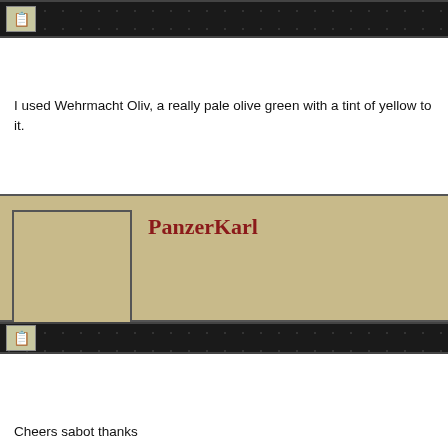I used Wehrmacht Oliv, a really pale olive green with a tint of yellow to it.
PanzerKarl
Cheers sabot thanks
Art